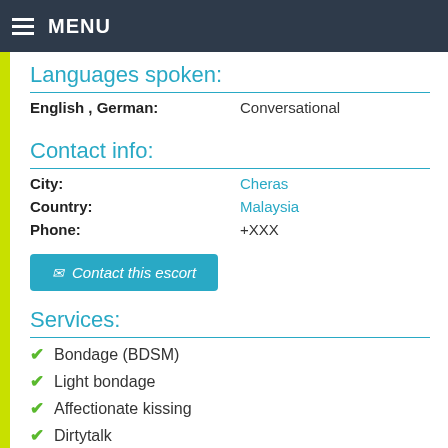MENU
Languages spoken:
English , German: Conversational
Contact info:
City: Cheras
Country: Malaysia
Phone: +XXX
Contact this escort
Services:
Bondage (BDSM)
Light bondage
Affectionate kissing
Dirtytalk